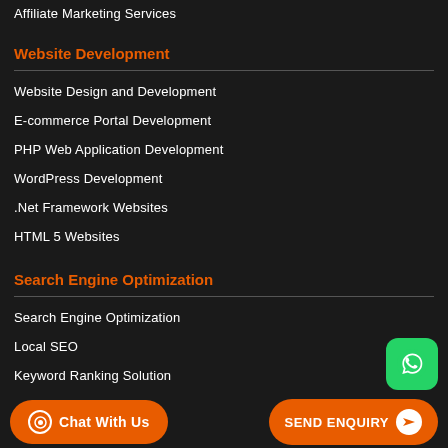Affiliate Marketing Services
Website Development
Website Design and Development
E-commerce Portal Development
PHP Web Application Development
WordPress Development
.Net Framework Websites
HTML 5 Websites
Search Engine Optimization
Search Engine Optimization
Local SEO
Keyword Ranking Solution
Ethical SEO
Chat With Us
SEND ENQUIRY